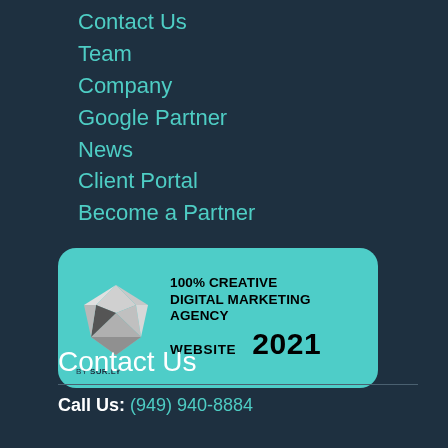Contact Us
Team
Company
Google Partner
News
Client Portal
Become a Partner
[Figure (logo): Badge: 100% Creative Digital Marketing Agency Website 2021 by SUR.LY, with diamond gem icon, on teal/turquoise rounded rectangle background]
Contact Us
Call Us: (949) 940-8884